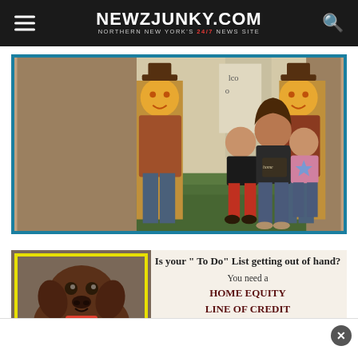NEWZJUNKY.COM — NORTHERN NEW YORK'S 24/7 NEWS SITE
[Figure (photo): Family photo: a woman and two children sitting on porch steps, woman holding a chalkboard sign reading 'home', with Halloween scarecrow decorations on either side]
[Figure (photo): Advertisement for Carthage Savings Home Equity Line of Credit. Left side shows a chocolate Labrador Retriever dog with yellow border. Right side text reads: 'Is your To Do List getting out of hand? You need a HOME EQUITY LINE OF CREDIT from CARTHAGE SAVINGS']